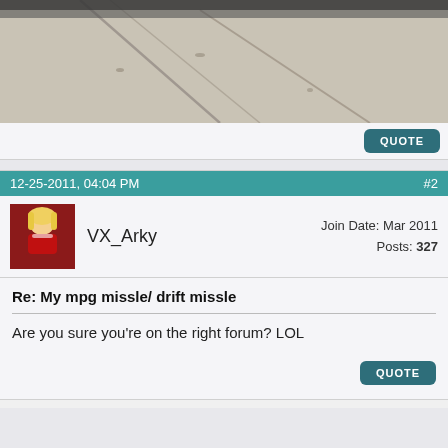[Figure (photo): Photo of concrete pavement/sidewalk with cracks, bottom portion of a vehicle visible at top edge]
QUOTE
12-25-2011, 04:04 PM  #2
[Figure (photo): Avatar of user VX_Arky showing a blonde woman in a red outfit]
VX_Arky
Join Date: Mar 2011
Posts: 327
Re: My mpg missle/ drift missle
Are you sure you're on the right forum? LOL
QUOTE